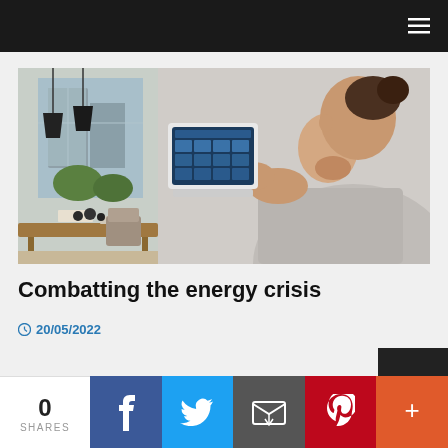[Figure (photo): Two-panel composite image: left panel shows a modern dining room interior with pendant lights, wooden table, and large windows overlooking a building; right panel shows a woman from behind touching a smart home control panel mounted on a white wall.]
Combatting the energy crisis
20/05/2022
0 SHARES | Facebook | Twitter | Email | Pinterest | More